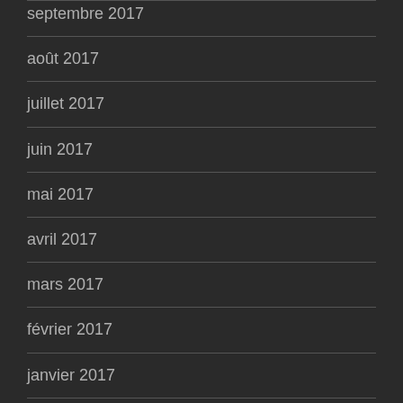septembre 2017
août 2017
juillet 2017
juin 2017
mai 2017
avril 2017
mars 2017
février 2017
janvier 2017
décembre 2016
novembre 2016